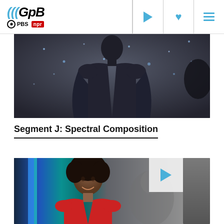GPB | PBS | NPR — Navigation header
[Figure (photo): A man in a dark long-sleeve shirt standing in front of a starry background, top half of body visible, filmed on a studio set]
Segment J: Spectral Composition
[Figure (photo): A woman with natural hair wearing a red top, smiling, standing in front of a studio background with blue and teal lighting elements, with a play button overlay in the upper right]